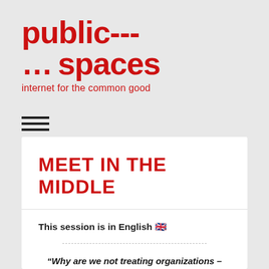[Figure (logo): Public Spaces logo: bold red text 'public---spaces' with dots, subtitle 'internet for the common good' in red]
[Figure (other): Hamburger menu icon: three horizontal black lines]
MEET IN THE MIDDLE
This session is in English 🇬🇧
“Why are we not treating organizations – everything from large broadcasters to local